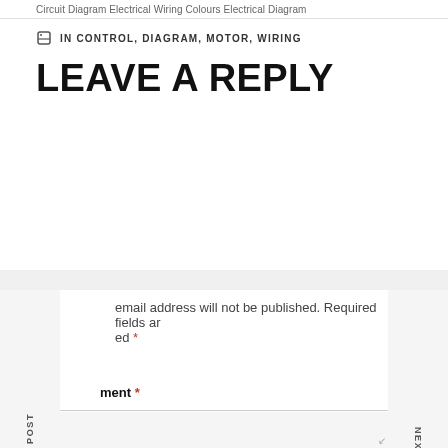Circuit Diagram Electrical Wiring Colours Electrical Diagram
IN CONTROL, DIAGRAM, MOTOR, WIRING
LEAVE A REPLY
email address will not be published. Required fields are marked *
Comment *
Name *
PREVIOUS POST
NEXT POST